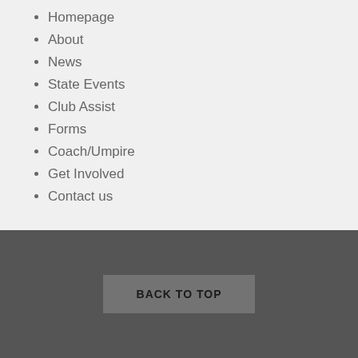Homepage
About
News
State Events
Club Assist
Forms
Coach/Umpire
Get Involved
Contact us
BACK TO TOP